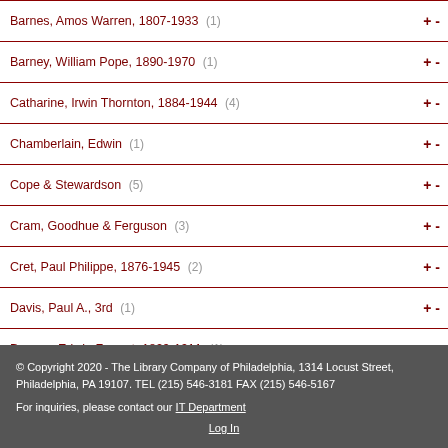Barnes, Amos Warren, 1807-1933 (1)
Barney, William Pope, 1890-1970 (1)
Catharine, Irwin Thornton, 1884-1944 (4)
Chamberlain, Edwin (1)
Cope & Stewardson (5)
Cram, Goodhue & Ferguson (3)
Cret, Paul Philippe, 1876-1945 (2)
Davis, Paul A., 3rd (1)
Durang, Edwin Forrest, 1829-1911 (1)
© Copyright 2020 - The Library Company of Philadelphia, 1314 Locust Street, Philadelphia, PA 19107. TEL (215) 546-3181 FAX (215) 546-5167
For inquiries, please contact our IT Department
Log In